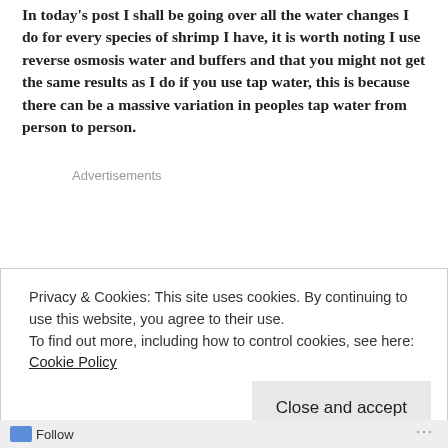In today's post I shall be going over all the water changes I do for every species of shrimp I have, it is worth noting I use reverse osmosis water and buffers and that you might not get the same results as I do if you use tap water, this is because there can be a massive variation in peoples tap water from person to person.
Advertisements
Privacy & Cookies: This site uses cookies. By continuing to use this website, you agree to their use.
To find out more, including how to control cookies, see here: Cookie Policy